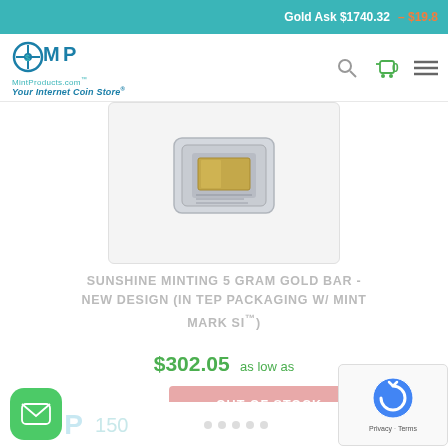Gold Ask $1740.32  – $19.8
[Figure (logo): MintProducts.com logo with MP icon and tagline 'Your Internet Coin Store']
[Figure (photo): Sunshine Minting 5 gram gold bar in TEP packaging with Mint Mark SI]
SUNSHINE MINTING 5 GRAM GOLD BAR - NEW DESIGN (IN TEP PACKAGING W/ MINT MARK SI™)
$302.05 as low as
OUT OF STOCK
MP 150
[Figure (other): reCAPTCHA privacy badge with Privacy - Terms text]